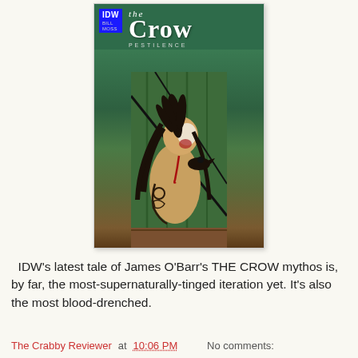[Figure (illustration): Comic book cover for 'The Crow: Pestilence' published by IDW. Shows a shirtless figure with a mohawk hairstyle, face paint (white and red), and tribal tattoos on the arm, with a crow visible at their shoulder. Background is a green wooden structure. IDW logo and Bill Moss credit in upper left.]
IDW's latest tale of James O'Barr's THE CROW mythos is, by far, the most-supernaturally-tinged iteration yet. It's also the most blood-drenched.
The Crabby Reviewer at 10:06 PM    No comments: